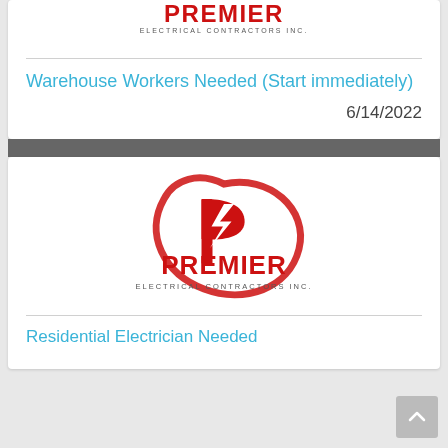[Figure (logo): Premier Electrical Contractors Inc. logo — red lightning bolt P icon with red PREMIER text and ELECTRICAL CONTRACTORS INC. subtitle]
Warehouse Workers Needed (Start immediately)
6/14/2022
[Figure (logo): Premier Electrical Contractors Inc. logo — red lightning bolt P icon with red PREMIER text and ELECTRICAL CONTRACTORS INC. subtitle]
Residential Electrician Needed